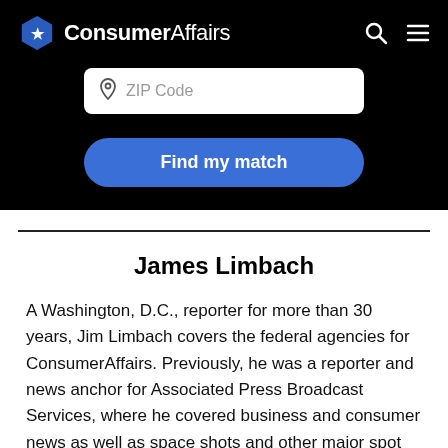[Figure (logo): ConsumerAffairs logo with blue hexagon star icon and white text on black background, with search and menu icons on the right]
[Figure (screenshot): ZIP Code input field with location pin icon, white rounded rectangle on black background]
[Figure (screenshot): Blue rounded 'Find my match' button]
James Limbach
A Washington, D.C., reporter for more than 30 years, Jim Limbach covers the federal agencies for ConsumerAffairs. Previously, he was a reporter and news anchor for Associated Press Broadcast Services, where he covered business and consumer news as well as space shots and other major spot news events.